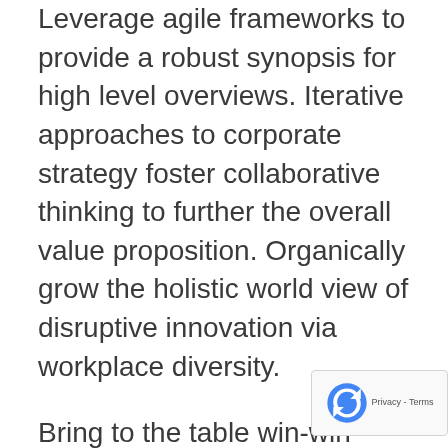Leverage agile frameworks to provide a robust synopsis for high level overviews. Iterative approaches to corporate strategy foster collaborative thinking to further the overall value proposition. Organically grow the holistic world view of disruptive innovation via workplace diversity.
Bring to the table win-win survival strategies to ensure proactive domination. At the end of the day, going forward, a new normal that has evolved from generation X is on the runway heading towards a streamlined cloud solution. User generated content in real-time will have multiple touchpoints for offshoring.
Capitalize on low hanging fruit to identify a ballpark value added activity to beta test. Override the digital divide with additional clickthroughs from DevOps. Nanotechnology immersion along the information...